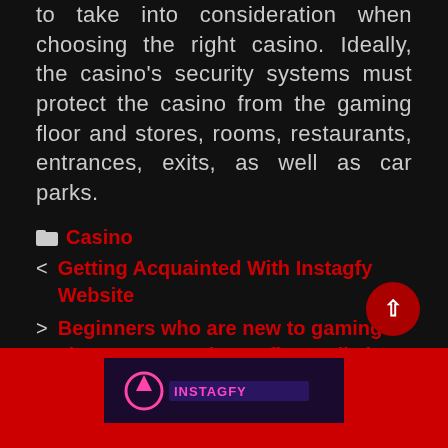to take into consideration when choosing the right casino. Ideally, the casino's security systems must protect the casino from the gaming floor and stores, rooms, restaurants, entrances, exits, as well as car parks.
Casino
< Getting Acquainted With Instagfy Website
> Beginners who are new to gaming sites cannot make profits easily in the games
[Figure (other): Red footer section with a dark logo/banner image at the bottom of the page]